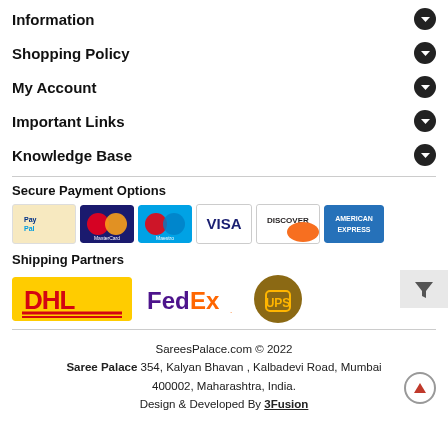Information
Shopping Policy
My Account
Important Links
Knowledge Base
Secure Payment Options
[Figure (logo): Payment logos: PayPal, MasterCard, Maestro, VISA, DISCOVER, AMERICAN EXPRESS]
Shipping Partners
[Figure (logo): Shipping partner logos: DHL, FedEx, UPS]
SareesPalace.com © 2022
Saree Palace 354, Kalyan Bhavan , Kalbadevi Road, Mumbai 400002, Maharashtra, India.
Design & Developed By 3Fusion